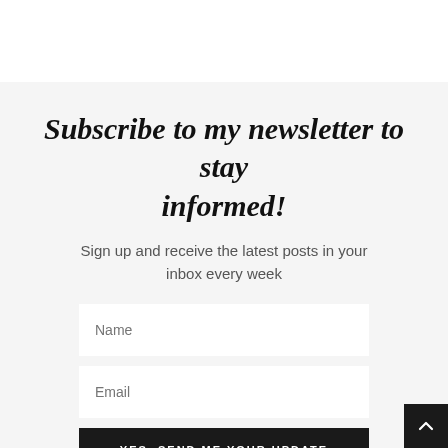Subscribe to my newsletter to stay informed!
Sign up and receive the latest posts in your inbox every week